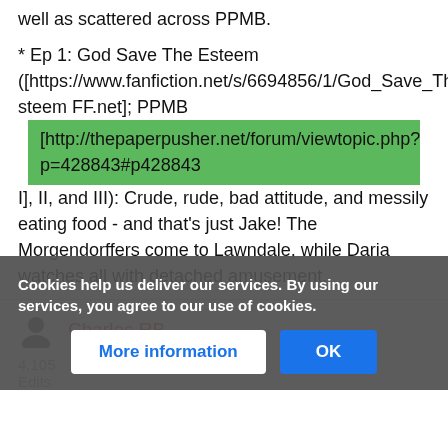well as scattered across PPMB.
* Ep 1: God Save The Esteem ([https://www.fanfiction.net/s/6694856/1/God_Save_The_Esteem FF.net]; PPMB [http://thepaperpusher.net/forum/viewtopic.php?p=428843#p428843 I], II, and III): Crude, rude, bad attitude, and messily eating food - and that's just Jake! The Morgendorffers come to Lawndale, while Daria watches all with detached amusement.
Charles RB
4,105
Edits
Cookies help us deliver our services. By using our services, you agree to our use of cookies.